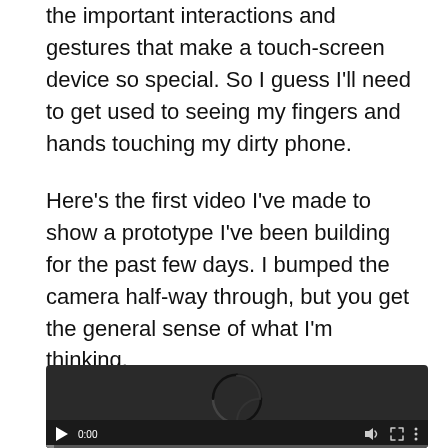the important interactions and gestures that make a touch-screen device so special. So I guess I'll need to get used to seeing my fingers and hands touching my dirty phone.
Here's the first video I've made to show a prototype I've been building for the past few days. I bumped the camera half-way through, but you get the general sense of what I'm thinking.
[Figure (screenshot): Embedded video player showing a dark/black loading screen with a spinning loading indicator in the center. Video controls at the bottom show a play button, time display '0:00', volume icon, fullscreen icon, and a more options (three dots) icon. A progress bar is visible at the very bottom.]